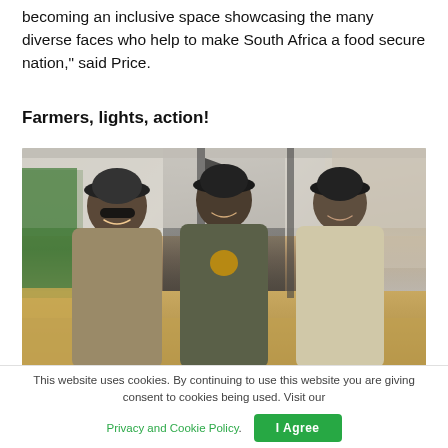becoming an inclusive space showcasing the many diverse faces who help to make South Africa a food secure nation," said Price.
Farmers, lights, action!
[Figure (photo): Three young men wearing khaki/olive uniforms and caps standing together under a tent at an outdoor agricultural show, smiling at the camera. Various banners and farm equipment visible in the background.]
This website uses cookies. By continuing to use this website you are giving consent to cookies being used. Visit our Privacy and Cookie Policy. I Agree